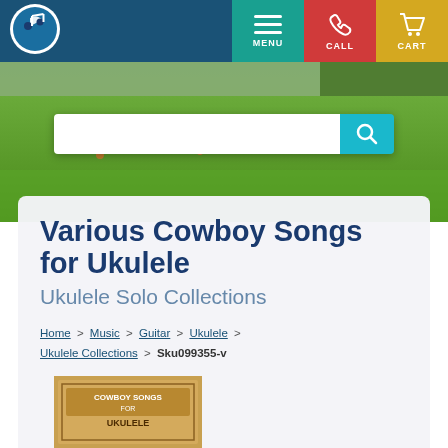[Figure (screenshot): Website navigation header with dark blue background, music store logo (blue/white circle with music note), MENU button (teal), CALL button (red), CART button (yellow)]
[Figure (photo): Hero image of a green meadow/field with orange wildflowers and trees in background]
[Figure (screenshot): Search bar with white input field and teal search button with magnifying glass icon]
Various Cowboy Songs for Ukulele
Ukulele Solo Collections
Home > Music > Guitar > Ukulele > Ukulele Collections > Sku099355-v
[Figure (photo): Partial book cover showing 'Cowboy Songs for Ukulele' text at bottom of page]